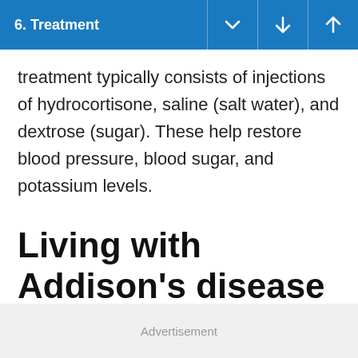6. Treatment
treatment typically consists of injections of hydrocortisone, saline (salt water), and dextrose (sugar). These help restore blood pressure, blood sugar, and potassium levels.
Living with Addison's disease
Advertisement